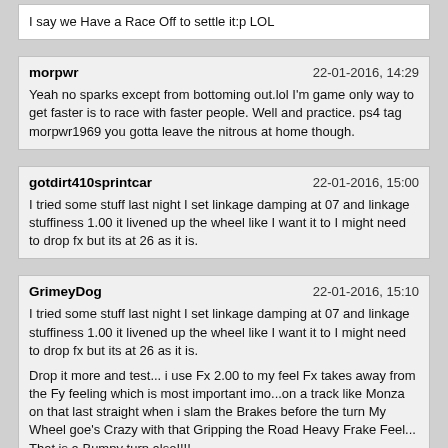I say we Have a Race Off to settle it:p LOL
morpwr
22-01-2016, 14:29
Yeah no sparks except from bottoming out.lol I'm game only way to get faster is to race with faster people. Well and practice. ps4 tag morpwr1969 you gotta leave the nitrous at home though.
gotdirt410sprintcar
22-01-2016, 15:00
I tried some stuff last night I set linkage damping at 07 and linkage stuffiness 1.00 it livened up the wheel like I want it to I might need to drop fx but its at 26 as it is.
GrimeyDog
22-01-2016, 15:10
I tried some stuff last night I set linkage damping at 07 and linkage stuffiness 1.00 it livened up the wheel like I want it to I might need to drop fx but its at 26 as it is.

Drop it more and test... i use Fx 2.00 to my feel Fx takes away from the Fy feeling which is most important imo...on a track like Monza on that last straight when i slam the Brakes before the turn My Wheel goe's Crazy with that Gripping the Road Heavy Frake Feel... That is a Bumpy turn also!!!!

My wheel feels Very Close to how My 350z Steering wheel feels in RL... Im Loving it!!!

IMO Damping Kills the Very Forces you are trying to feel... only eason you Need damping is when 1 force is being drowned out by another force... but because w have total control over the FFB forces why use damping when you can just simply turn down the FFB force thats over shdowing and Drowning out the other forces...Balance is the key.